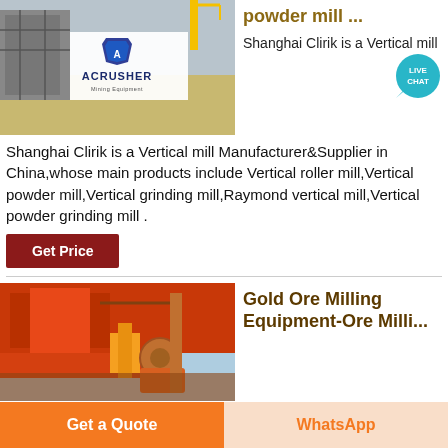[Figure (photo): Construction site with Acrusher Mining Equipment logo overlay]
powder mill ...
Shanghai Clirik is a Vertical mill Manufacturer&Supplier in China,whose main products include Vertical roller mill,Vertical powder mill,Vertical grinding mill,Raymond vertical mill,Vertical powder grinding mill .
[Figure (infographic): Live Chat speech bubble icon in teal with text LIVE CHAT]
Get Price
[Figure (photo): Gold ore milling equipment - orange industrial machinery]
Gold Ore Milling Equipment-Ore Milling ...
Get a Quote
WhatsApp